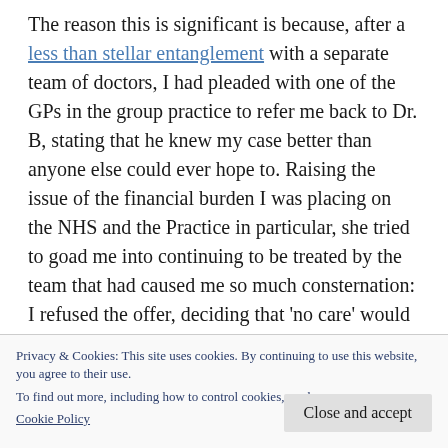The reason this is significant is because, after a less than stellar entanglement with a separate team of doctors, I had pleaded with one of the GPs in the group practice to refer me back to Dr. B, stating that he knew my case better than anyone else could ever hope to. Raising the issue of the financial burden I was placing on the NHS and the Practice in particular, she tried to goad me into continuing to be treated by the team that had caused me so much consternation: I refused the offer, deciding that 'no care' would be a darn
Privacy & Cookies: This site uses cookies. By continuing to use this website, you agree to their use.
To find out more, including how to control cookies, see here: Cookie Policy